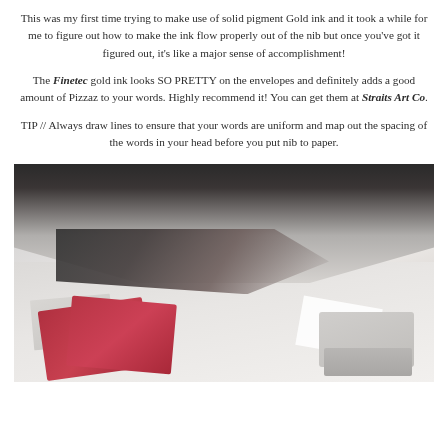This was my first time trying to make use of solid pigment Gold ink and it took a while for me to figure out how to make the ink flow properly out of the nib but once you've got it figured out, it's like a major sense of accomplishment!
The Finetec gold ink looks SO PRETTY on the envelopes and definitely adds a good amount of Pizzaz to your words. Highly recommend it! You can get them at Straits Art Co.
TIP // Always draw lines to ensure that your words are uniform and map out the spacing of the words in your head before you put nib to paper.
[Figure (photo): A person in a black and white striped top working at a desk with red envelopes, notebooks, a keyboard, and a laptop in a bright, airy workspace.]